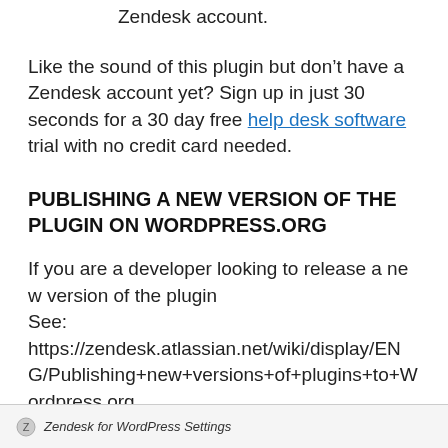Zendesk account.
Like the sound of this plugin but don’t have a Zendesk account yet? Sign up in just 30 seconds for a 30 day free help desk software trial with no credit card needed.
PUBLISHING A NEW VERSION OF THE PLUGIN ON WORDPRESS.ORG
If you are a developer looking to release a new version of the plugin
See:
https://zendesk.atlassian.net/wiki/display/ENG/Publishing+new+versions+of+plugins+to+Wordpress.org
□□□□□□□□□□
Zendesk for WordPress Settings